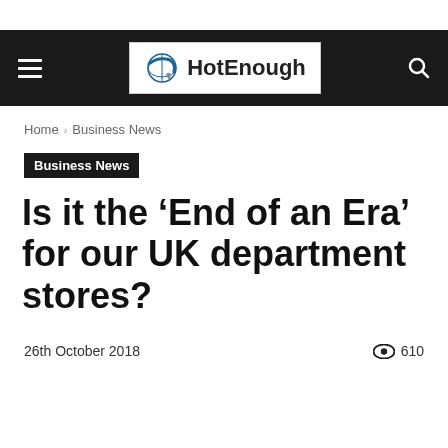HotEnough — Navigation bar with logo
Home › Business News
Business News
Is it the ‘End of an Era’ for our UK department stores?
26th October 2018   👁 610